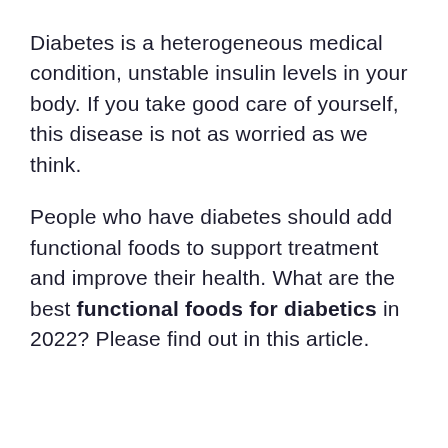Diabetes is a heterogeneous medical condition, unstable insulin levels in your body. If you take good care of yourself, this disease is not as worried as we think.
People who have diabetes should add functional foods to support treatment and improve their health. What are the best functional foods for diabetics in 2022? Please find out in this article.